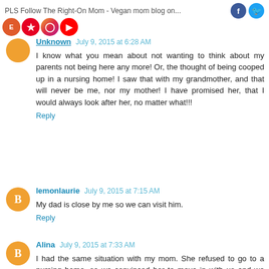PLS Follow The Right-On Mom - Vegan mom blog on...
Unknown  July 9, 2015 at 6:28 AM
I know what you mean about not wanting to think about my parents not being here any more! Or, the thought of being cooped up in a nursing home! I saw that with my grandmother, and that will never be me, nor my mother! I have promised her, that I would always look after her, no matter what!!!
Reply
lemonlaurie  July 9, 2015 at 7:15 AM
My dad is close by me so we can visit him.
Reply
Alina  July 9, 2015 at 7:33 AM
I had the same situation with my mom. She refused to go to a nursing home, so we convinced her to move in with us and we took care of her.